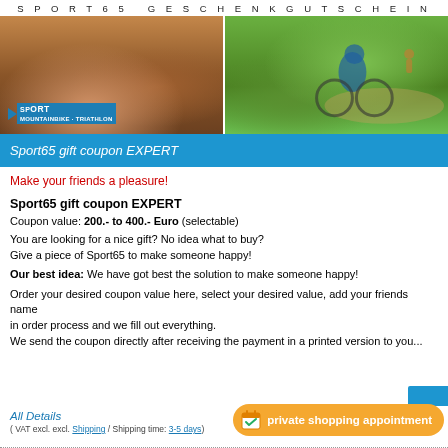S P O R T 6 5   G E S C H E N K G U T S C H E I N
[Figure (photo): Two photos side by side: left shows runner legs on rocky terrain with Sport65 logo overlay, right shows cyclist in blue jersey riding mountain bike on trail]
Sport65 gift coupon EXPERT
Make your friends a pleasure!
Sport65 gift coupon EXPERT
Coupon value: 200.- to 400.- Euro (selectable)
You are looking for a nice gift? No idea what to buy?
Give a piece of Sport65 to make someone happy!
Our best idea: We have got best the solution to make someone happy!
Order your desired coupon value here, select your desired value, add your friends name in order process and we fill out everything.
We send the coupon directly after receiving the payment in a printed version to you...
All Details
( VAT excl. excl. Shipping / Shipping time: 3-5 days)